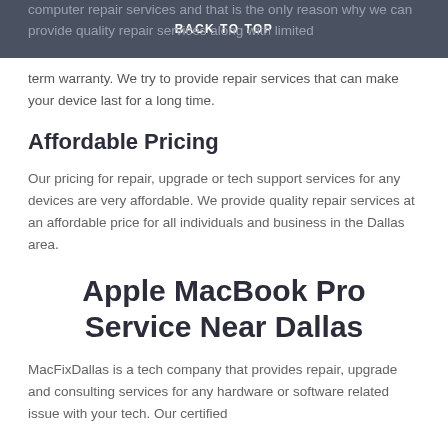BACK TO TOP
computer repair services and that is the only reason why we can provide quality repair services along with limited term warranty. We try to provide repair services that can make your device last for a long time.
Affordable Pricing
Our pricing for repair, upgrade or tech support services for any devices are very affordable. We provide quality repair services at an affordable price for all individuals and business in the Dallas area.
Apple MacBook Pro Service Near Dallas
MacFixDallas is a tech company that provides repair, upgrade and consulting services for any hardware or software related issue with your tech. Our certified